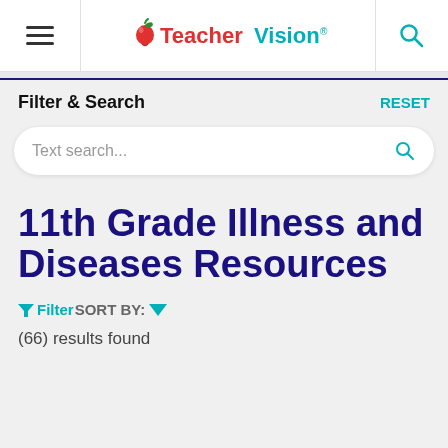TeacherVision
Filter & Search
Text search...
11th Grade Illness and Diseases Resources
Filter SORT BY:
(66) results found